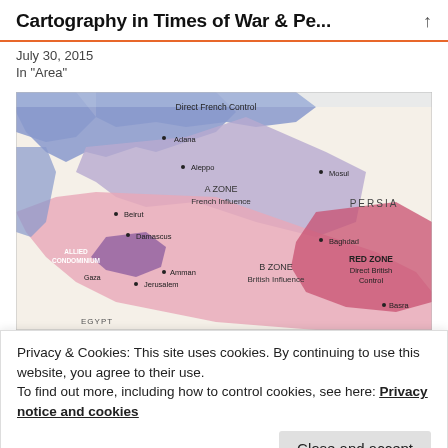Cartography in Times of War & Pe...
July 30, 2015
In "Area"
[Figure (map): Historical map showing Sykes-Picot Agreement zones: Direct French Control (blue), A ZONE French Influence (light blue/purple), B ZONE British Influence (pink), RED ZONE Direct British Control (red/dark pink), ALLIED CONDOMINIUM (purple). Cities labeled: Adana, Aleppo, Mosul, Beirut, Damascus, Baghdad, Amman, Jerusalem, Gaza, Basra. Regions: PERSIA, EGYPT.]
Privacy & Cookies: This site uses cookies. By continuing to use this website, you agree to their use.
To find out more, including how to control cookies, see here: Privacy notice and cookies
Close and accept